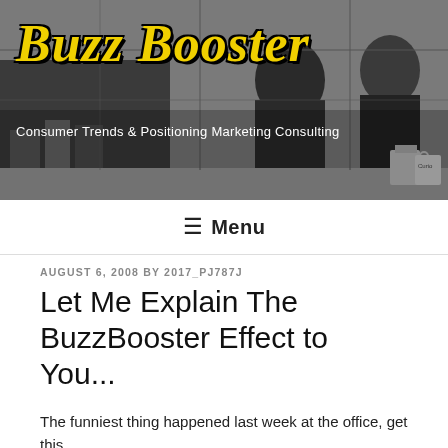[Figure (photo): Black and white photo of two people sitting at a desk/studio setting with books, mugs, and equipment. 'Buzz Booster' logo text overlaid in bold yellow italic font. Tagline 'Consumer Trends & Positioning Marketing Consulting' overlaid in white text.]
≡ Menu
AUGUST 6, 2008 BY 2017_PJ787J
Let Me Explain The BuzzBooster Effect to You...
The funniest thing happened last week at the office, get this...